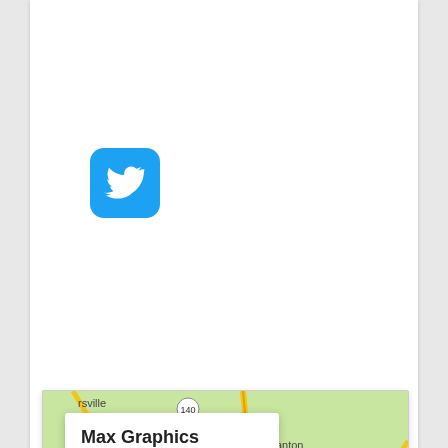[Figure (logo): Twitter bird logo icon — white bird on blue rounded-square background]
[Figure (map): Google Maps screenshot showing the Atlanta, Georgia area with a red pin labeled 'Max Graphics'. An info box overlay in the upper left reads 'Max Graphics' and 'View larger map'. Visible cities include Cartersville, Acworth, Kennesaw, Canton, Alpharetta, Cumming, Duluth, Norcross, Austell. Highway numbers visible: 140, 20, 19, 120, 360, 61, 85, 78.]